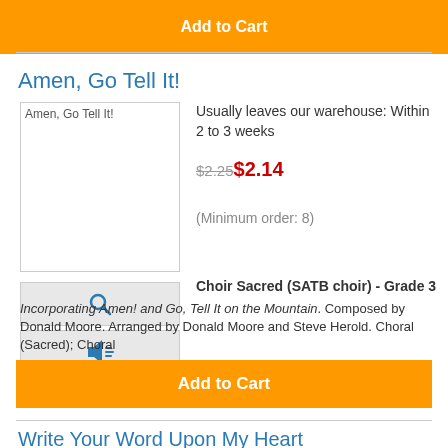[Figure (other): Orange Add to Cart button at top of page]
Amen, Go Tell It!
[Figure (photo): Product thumbnail image for Amen, Go Tell It! with broken image icon]
Usually leaves our warehouse: Within 2 to 3 weeks
$2.25 $2.14
(Minimum order: 8)
[Figure (other): Magnify/search icon button]
[Figure (other): Audio/speaker icon button]
Choir Sacred (SATB choir) - Grade 3
Incorporating Amen! and Go, Tell It on the Mountain. Composed by Donald Moore. Arranged by Donald Moore and Steve Herold. Choral (Sacred); Choral
[Figure (other): Orange Add to Cart button]
Write Your Word Upon My Heart